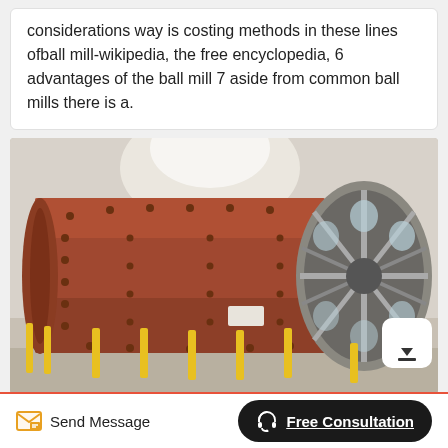considerations way is costing methods in these lines ofball mill-wikipedia, the free encyclopedia, 6 advantages of the ball mill 7 aside from common ball mills there is a.
[Figure (photo): Large industrial ball mill with a rust-colored cylindrical drum with bolted plates and a wheel/gear end cap, photographed indoors with yellow safety posts around the base.]
Send Message
Free Consultation